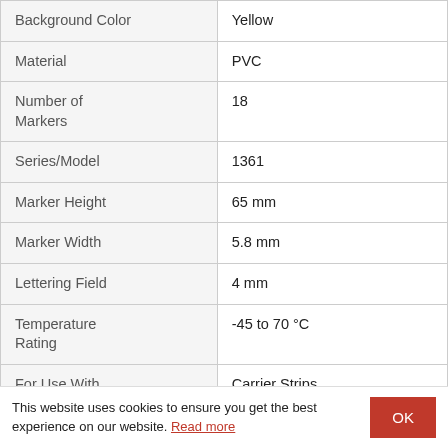| Attribute | Value |
| --- | --- |
| Background Color | Yellow |
| Material | PVC |
| Number of Markers | 18 |
| Series/Model | 1361 |
| Marker Height | 65 mm |
| Marker Width | 5.8 mm |
| Lettering Field | 4 mm |
| Temperature Rating | -45 to 70 °C |
| For Use With | Carrier Strips |
| Packaging Quantity | 500/Roll |
| Standards | REACH, RoHS Compliant, BS 6746, IEC 60204-1 |
| Application | For Identifying Wire Bundles, Cables, |
This website uses cookies to ensure you get the best experience on our website. Read more